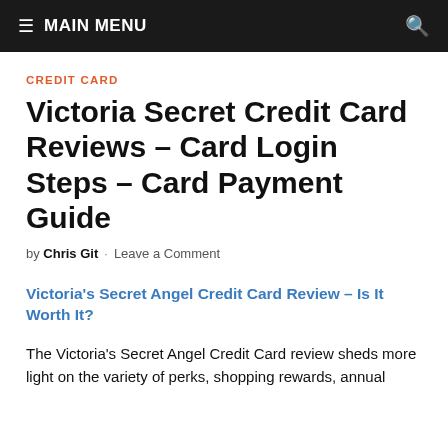≡ MAIN MENU
CREDIT CARD
Victoria Secret Credit Card Reviews – Card Login Steps – Card Payment Guide
by Chris Git · Leave a Comment
Victoria's Secret Angel Credit Card Review – Is It Worth It?
The Victoria's Secret Angel Credit Card review sheds more light on the variety of perks, shopping rewards, annual